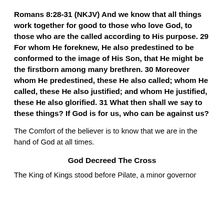Romans 8:28-31 (NKJV) And we know that all things work together for good to those who love God, to those who are the called according to His purpose. 29 For whom He foreknew, He also predestined to be conformed to the image of His Son, that He might be the firstborn among many brethren. 30 Moreover whom He predestined, these He also called; whom He called, these He also justified; and whom He justified, these He also glorified. 31 What then shall we say to these things? If God is for us, who can be against us?
The Comfort of the believer is to know that we are in the hand of God at all times.
God Decreed The Cross
The King of Kings stood before Pilate, a minor governor